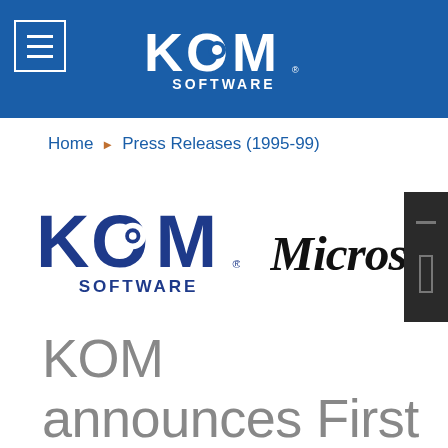KOM SOFTWARE
Home > Press Releases (1995-99)
[Figure (logo): KOM Software logo and Microsoft logo side by side]
KOM announces First Storage Management Solution for